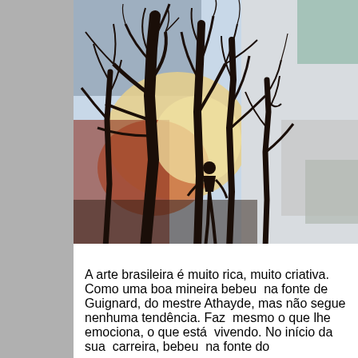[Figure (illustration): A painting-like artwork depicting bare, dark tree silhouettes against a colorful sky with warm orange, yellow, and blue tones, evoking a sunset landscape.]
A arte brasileira é muito rica, muito criativa. Como uma boa mineira bebeu  na fonte de Guignard, do mestre Athayde, mas não segue nenhuma tendência. Faz  mesmo o que lhe emociona, o que está  vivendo. No início da sua  carreira, bebeu  na fonte do